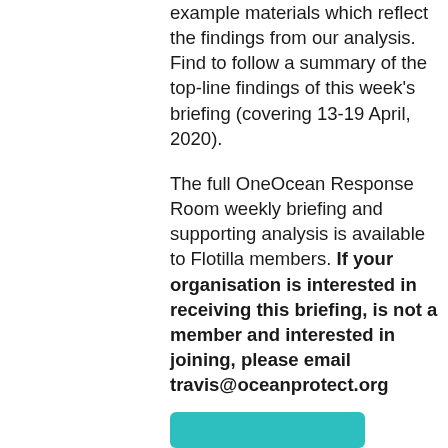example materials which reflect the findings from our analysis. Find to follow a summary of the top-line findings of this week's briefing (covering 13-19 April, 2020).
The full OneOcean Response Room weekly briefing and supporting analysis is available to Flotilla members. If your organisation is interested in receiving this briefing, is not a member and interested in joining, please email travis@oceanprotect.org
[Figure (other): Teal/cyan rounded button at the bottom of the page, partially visible]